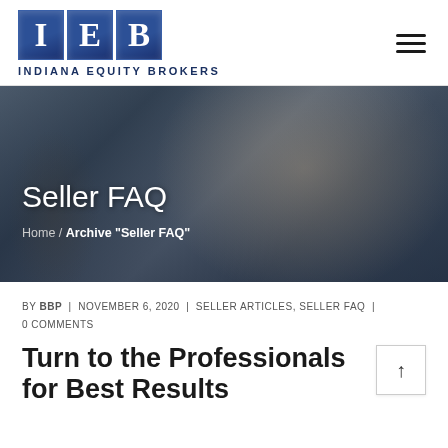[Figure (logo): IEB Indiana Equity Brokers logo with three blue squares containing letters I, E, B and company name below]
[Figure (photo): Hero banner photo showing two business people reviewing documents at a table, muted blue-grey tones]
Seller FAQ
Home / Archive "Seller FAQ"
BY BBP | NOVEMBER 6, 2020 | SELLER ARTICLES, SELLER FAQ | 0 COMMENTS
Turn to the Professionals for Best Results